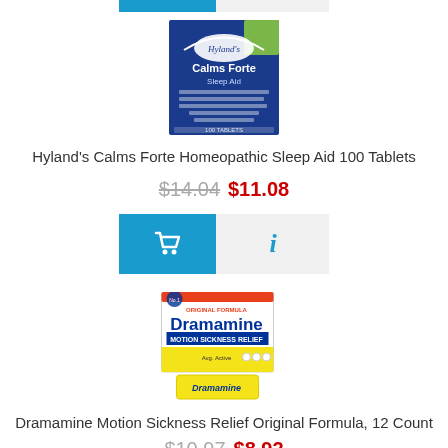[Figure (photo): Hyland's Calms Forte Homeopathic Sleep Aid product box, blue packaging with moon imagery]
Hyland's Calms Forte Homeopathic Sleep Aid 100 Tablets
$14.04 $11.08
[Figure (other): Add to cart button (blue with cart icon) and info button (light grey with blue i icon)]
[Figure (photo): Dramamine Motion Sickness Relief Original Formula 12 Count product box, white/yellow packaging]
Dramamine Motion Sickness Relief Original Formula, 12 Count
$10.97 $8.92